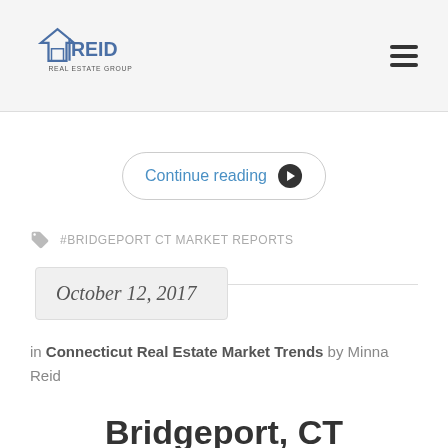Reid Real Estate Group
Continue reading →
#BRIDGEPORT CT MARKET REPORTS
October 12, 2017
in Connecticut Real Estate Market Trends by Minna Reid
Bridgeport, CT homeowners still struggling with best...